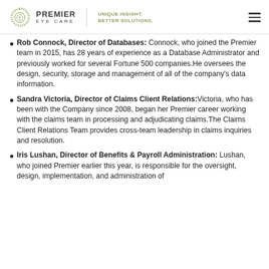PREMIER EYE CARE — UNIQUE INSIGHT. BETTER SOLUTIONS.
Rob Connock, Director of Databases: Connock, who joined the Premier team in 2015, has 28 years of experience as a Database Administrator and previously worked for several Fortune 500 companies.He oversees the design, security, storage and management of all of the company's data information.
Sandra Victoria, Director of Claims Client Relations:Victoria, who has been with the Company since 2008, began her Premier career working with the claims team in processing and adjudicating claims.The Claims Client Relations Team provides cross-team leadership in claims inquiries and resolution.
Iris Lushan, Director of Benefits & Payroll Administration: Lushan, who joined Premier earlier this year, is responsible for the oversight, design, implementation, and administration of